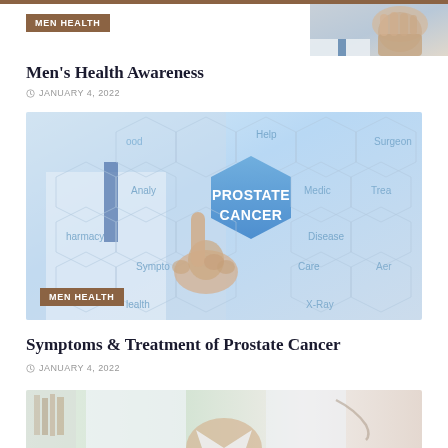[Figure (photo): Partial image at top right showing a person's fist or hand, cropped]
MEN HEALTH
Men's Health Awareness
JANUARY 4, 2022
[Figure (photo): Medical concept image showing a hexagonal grid with 'PROSTATE CANCER' highlighted in a blue hexagon in the center, surrounded by words like Food, Help, Surgeon, Analysis, Medical, Treatment, Pharmacy, Disease, Symptoms, Care. A doctor's hand appears to be touching the hexagon.]
MEN HEALTH
Symptoms & Treatment of Prostate Cancer
JANUARY 4, 2022
[Figure (photo): Partial image at bottom showing a doctor or medical professional, cropped]